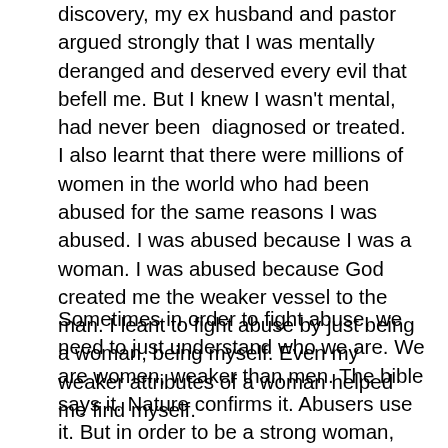discovery, my ex husband and pastor argued strongly that I was mentally deranged and deserved every evil that befell me. But I knew I wasn't mental, had never been  diagnosed or treated.   I also learnt that there were millions of women in the world who had been abused for the same reasons I was abused. I was abused because I was a woman. I was abused because God created me the weaker vessel to the man. I leant to fight abuse by just being a woman, being myself. Even my weaker attributes of a woman helped me find myself.
Sometimes in order to fight abuse, we need to just understand who we are. We are women, weaker than men. The bible says it. Nature confirms it. Abusers use it. But in order to be a strong woman, you do not need to act like man. You do not even need to think like a man as Steve Harvey says. You are a woman, you do not need to be abused because you behave like a woman. You do not need to feel bad or apologise for being the weaker